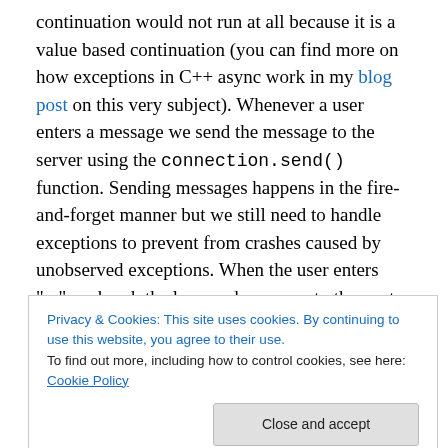continuation would not run at all because it is a value based continuation (you can find more on how exceptions in C++ async work in my blog post on this very subject). Whenever a user enters a message we send the message to the server using the connection.send() function. Sending messages happens in the fire-and-forget manner but we still need to handle exceptions to prevent from crashes caused by unobserved exceptions. When the user enters ":q" we break the loop and move on to the next continuation which stops the connection. This continuation is interesting because it actually can be invoked in one
Privacy & Cookies: This site uses cookies. By continuing to use this website, you agree to their use. To find out more, including how to control cookies, see here: Cookie Policy
stopping the connection — stopping a connection can